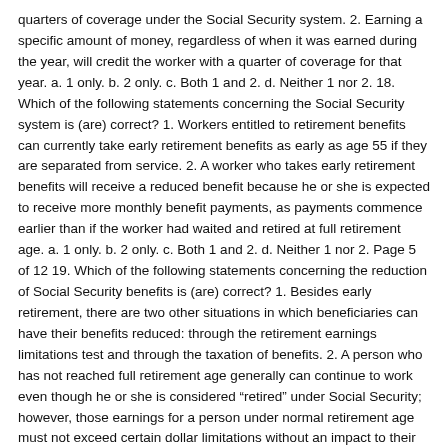quarters of coverage under the Social Security system. 2. Earning a specific amount of money, regardless of when it was earned during the year, will credit the worker with a quarter of coverage for that year. a. 1 only. b. 2 only. c. Both 1 and 2. d. Neither 1 nor 2. 18. Which of the following statements concerning the Social Security system is (are) correct? 1. Workers entitled to retirement benefits can currently take early retirement benefits as early as age 55 if they are separated from service. 2. A worker who takes early retirement benefits will receive a reduced benefit because he or she is expected to receive more monthly benefit payments, as payments commence earlier than if the worker had waited and retired at full retirement age. a. 1 only. b. 2 only. c. Both 1 and 2. d. Neither 1 nor 2. Page 5 of 12 19. Which of the following statements concerning the reduction of Social Security benefits is (are) correct? 1. Besides early retirement, there are two other situations in which beneficiaries can have their benefits reduced: through the retirement earnings limitations test and through the taxation of benefits. 2. A person who has not reached full retirement age generally can continue to work even though he or she is considered “retired” under Social Security; however, those earnings for a person under normal retirement age must not exceed certain dollar limitations without an impact to their benefits. a. 1 only. b. 2 only. c. Both 1 and 2. d. Neither 1 nor 2. 20. A person, age 78, is confined to a custodial nursing home. Which of the following programs are likely to pay benefits towards the cost of the nursing home? 1. Medicare may pay for up to 100 days of care after a 20-day deductible. 2. Long-term care insurance may pay part if coverage of the facility type is broad enough. 3. Private